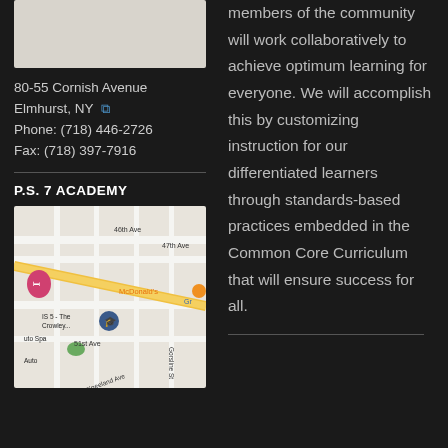[Figure (map): Partial map image showing a location near 80-55 Cornish Avenue, Elmhurst, NY — top left column, cropped]
80-55 Cornish Avenue
Elmhurst, NY
Phone: (718) 446-2726
Fax: (718) 397-7916
P.S. 7 ACADEMY
[Figure (map): Street map centered near 46th Ave, 47th Ave, 51st Ave, Kneeland Ave, Gorsline St in Elmhurst/Queens area; shows McDonald's label, IS 5 - The Crowley..., Auto Spa markers]
members of the community will work collaboratively to achieve optimum learning for everyone. We will accomplish this by customizing instruction for our differentiated learners through standards-based practices embedded in the Common Core Curriculum that will ensure success for all.